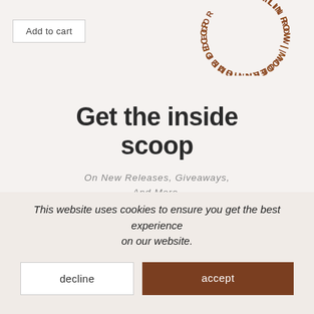[Figure (logo): Hamlin Row Modern Home Decor circular logo in brown/copper color]
Add to cart
Get the inside scoop
On New Releases, Giveaways, And More.
Email
This website uses cookies to ensure you get the best experience on our website.
decline
accept